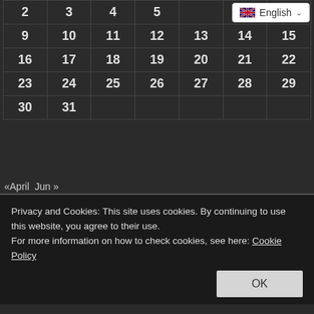| 2 | 3 | 4 | 5 |  |  |  |
| 9 | 10 | 11 | 12 | 13 | 14 | 15 |
| 16 | 17 | 18 | 19 | 20 | 21 | 22 |
| 23 | 24 | 25 | 26 | 27 | 28 | 29 |
| 30 | 31 |  |  |  |  |  |
«April  Jun »
FREE EMAIL SUBSCRIPTION
SUBSCRIBE
POPULAR NEWS
Privacy and Cookies: This site uses cookies. By continuing to use this website, you agree to their use.
For more information on how to check cookies, see here: Cookie Policy
OK
Kurdismalogja Participated in the Test Drive of GAZINX Suburban